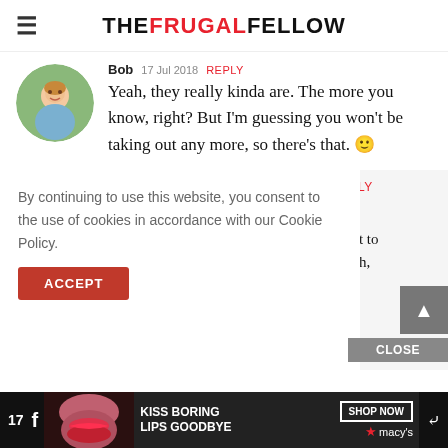THE FRUGAL FELLOW
Bob 17 Jul 2018 REPLY
Yeah, they really kinda are. The more you know, right? But I'm guessing you won't be taking out any more, so there's that. 🙂
By continuing to use this website, you consent to the use of cookies in accordance with our Cookie Policy.
EPLY
g debt to ts with,
ACCEPT
CLOSE
[Figure (advertisement): Macy's lip product advertisement banner: KISS BORING LIPS GOODBYE with SHOP NOW button and Macy's logo, showing a woman with red lips]
17